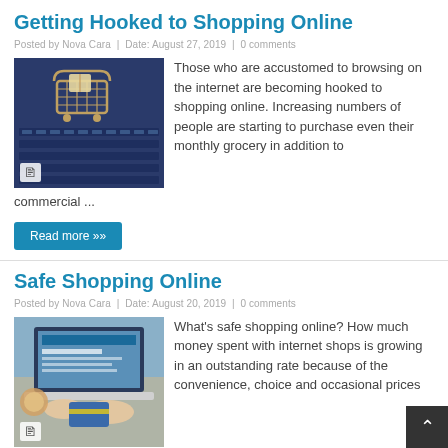Getting Hooked to Shopping Online
Posted by Nova Cara  |  Date: August 27, 2019  |  0 comments
[Figure (photo): Shopping cart on laptop keyboard]
Those who are accustomed to browsing on the internet are becoming hooked to shopping online. Increasing numbers of people are starting to purchase even their monthly grocery in addition to commercial ...
Read more »
Safe Shopping Online
Posted by Nova Cara  |  Date: August 20, 2019  |  0 comments
[Figure (photo): Person using laptop with credit card for online shopping]
What's safe shopping online? How much money spent with internet shops is growing in an outstanding rate because of the convenience, choice and occasional prices